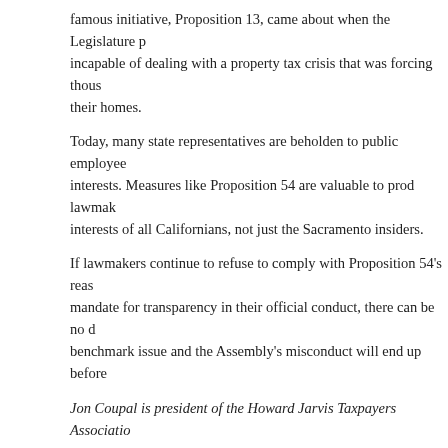famous initiative, Proposition 13, came about when the Legislature proved incapable of dealing with a property tax crisis that was forcing thousands from their homes.
Today, many state representatives are beholden to public employee interests. Measures like Proposition 54 are valuable to prod lawmakers to serve the interests of all Californians, not just the Sacramento insiders.
If lawmakers continue to refuse to comply with Proposition 54's reasonable mandate for transparency in their official conduct, there can be no doubt that this benchmark issue and the Assembly's misconduct will end up before the voters.
Jon Coupal is president of the Howard Jarvis Taxpayers Association.
This piece was originally published by the Orange County Register.
Filed Under: Top Stories   Tagged With: Anthony Rendon, Kev… transparency
Legislature Tries to Dodge Prop. 54 Transparency Requirements
December 17, 2016 By Joel Fox   1 Comment
The voters speak, the legislature interprets — and